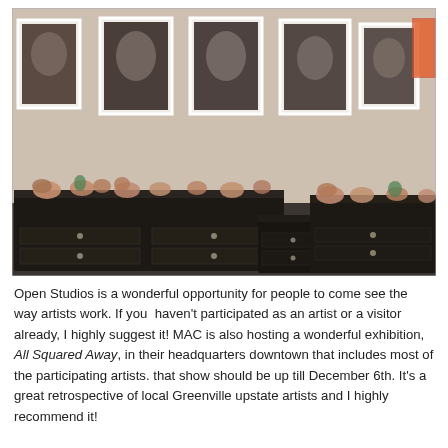[Figure (photo): Interior of an art gallery showing dark wooden dressers topped with sculptural organic/floral ceramic or clay objects. On the wall behind are several large monochromatic portrait photographs hung in a row. The room has light beige walls and a dark floor.]
Open Studios is a wonderful opportunity for people to come see the way artists work. If you  haven't participated as an artist or a visitor already, I highly suggest it! MAC is also hosting a wonderful exhibition, All Squared Away, in their headquarters downtown that includes most of the participating artists. that show should be up till December 6th. It's a great retrospective of local Greenville upstate artists and I highly recommend it!